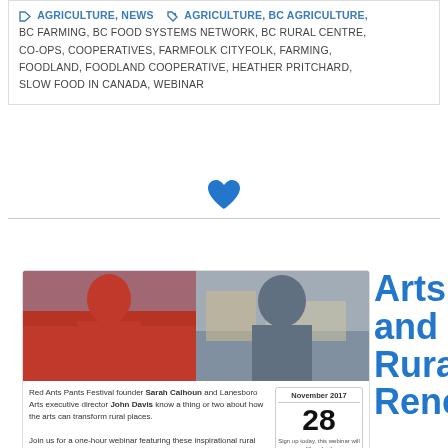AGRICULTURE, NEWS  AGRICULTURE, BC AGRICULTURE, BC FARMING, BC FOOD SYSTEMS NETWORK, BC RURAL CENTRE, CO-OPS, COOPERATIVES, FARMFOLK CITYFOLK, FARMING, FOODLAND, FOODLAND COOPERATIVE, HEATHER PRITCHARD, SLOW FOOD IN CANADA, WEBINAR
[Figure (other): Blue heart icon used as divider]
[Figure (photo): Two-panel photo: left panel shows Sarah Calhoun in a red shirt smiling; right panel shows John Davis smiling outdoors. Below is a card with event text and a November 28, 2017 date box.]
Red Ants Pants Festival founder Sarah Calhoun and Lanesboro Arts executive director John Davis know a thing or two about how the arts can transform rural places.

Join us for a one-hour webinar featuring these inspirational rural leaders, Tuesday, November
November 2017
28
Sign up today, this webinar will fill up fast!
Arts and Rural Rene